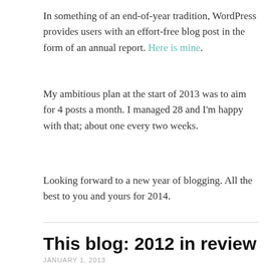In something of an end-of-year tradition, WordPress provides users with an effort-free blog post in the form of an annual report. Here is mine.
My ambitious plan at the start of 2013 was to aim for 4 posts a month. I managed 28 and I'm happy with that; about one every two weeks.
Looking forward to a new year of blogging. All the best to you and yours for 2014.
This blog: 2012 in review
JANUARY 1, 2013